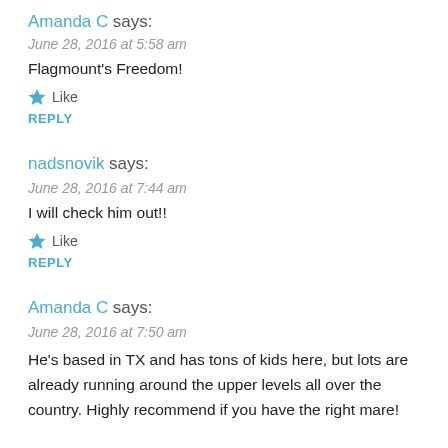Amanda C says:
June 28, 2016 at 5:58 am
Flagmount's Freedom!
Like
REPLY
nadsnovik says:
June 28, 2016 at 7:44 am
I will check him out!!
Like
REPLY
Amanda C says:
June 28, 2016 at 7:50 am
He's based in TX and has tons of kids here, but lots are already running around the upper levels all over the country. Highly recommend if you have the right mare!